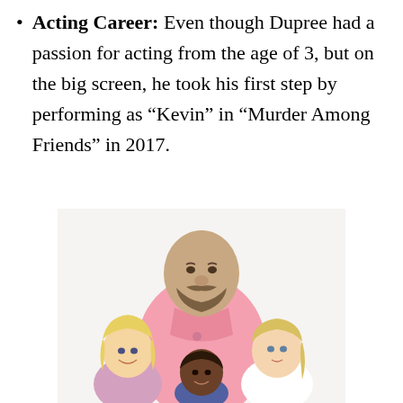Acting Career: Even though Dupree had a passion for acting from the age of 3, but on the big screen, he took his first step by performing as “Kevin” in “Murder Among Friends” in 2017.
[Figure (photo): A large bald man with a beard wearing a pink polo shirt stands behind three children/people: a blonde girl on the left, a young Black boy in the center, and a blonde woman on the right.]